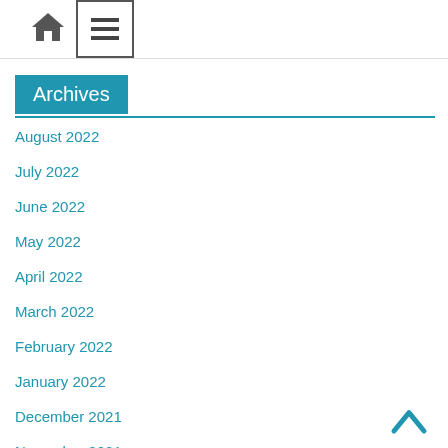Home | Menu
Archives
August 2022
July 2022
June 2022
May 2022
April 2022
March 2022
February 2022
January 2022
December 2021
November 2021